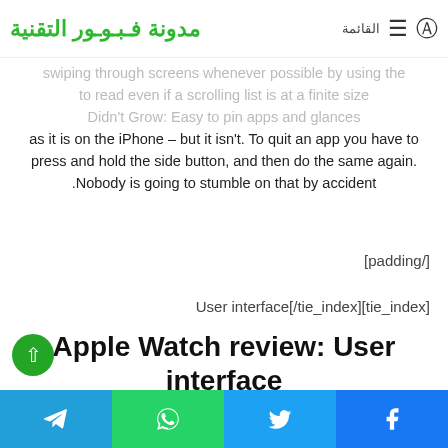مدونة فـبـوـور التقنية — القائمة ☰
swiping through screens whenever possible by using the
to read even if a scrolling list is at a finite size
Didn't Grow: Easy to pin apps and glances
as it is on the iPhone – but it isn't. To quit an app you have to
press and hold the side button, and then do the same again.
Nobody is going to stumble on that by accident.
[padding/]
User interface[/tie_index][tie_index]
Apple Watch review: User interface
[tie_full_img/]edition_large[tie_full_img]
Telegram | WhatsApp | Twitter | Facebook